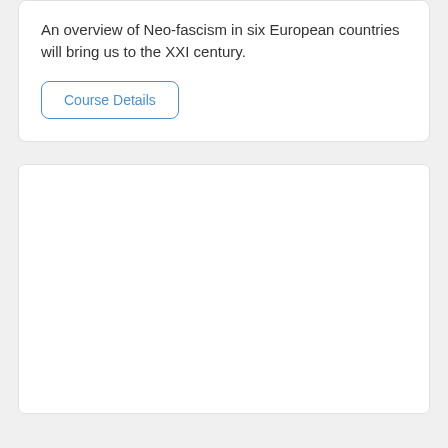An overview of Neo-fascism in six European countries will bring us to the XXI century.
Course Details
[Figure (illustration): Book cover partially visible showing the word 'FASCISM' in large black bold letters on white background, overlaid with 'EXPLAINED' in large red bold letters, and a historical figure in military uniform raising arm in salute in the foreground.]